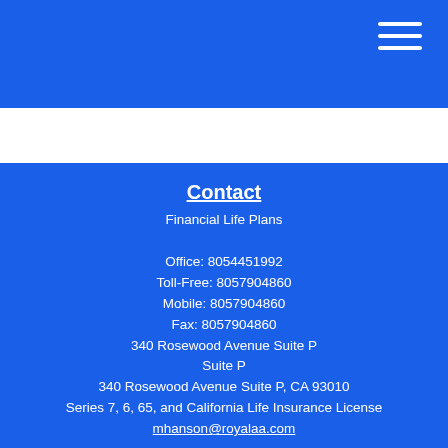[Figure (other): Hamburger menu icon (three white horizontal lines) in top-right corner of blue header bar]
Contact
Financial Life Plans
Office: 8054451992
Toll-Free: 8057904860
Mobile: 8057904860
Fax: 8057904860
340 Rosewood Avenue Suite P
Suite P
340 Rosewood Avenue Suite P, CA 93010
Series 7, 6, 65, and California Life Insurance License
mhanson@royalaa.com
[Figure (other): Facebook and LinkedIn social media icons]